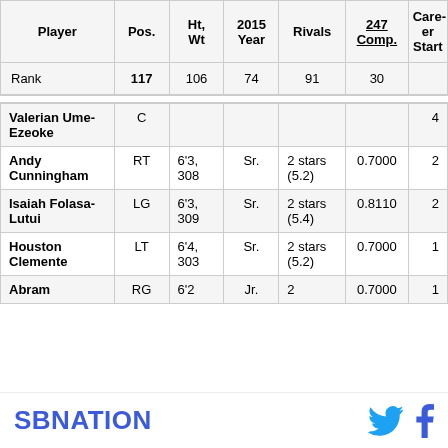| Player | Pos. | Ht, Wt | 2015 Year | Rivals | 247 Comp. | Career Start |
| --- | --- | --- | --- | --- | --- | --- |
| Rank | 117 | 106 | 74 | 91 | 30 |  |
| Valerian Ume-Ezeoke | C |  |  |  |  | 4 |
| Andy Cunningham | RT | 6'3, 308 | Sr. | 2 stars (5.2) | 0.7000 | 2 |
| Isaiah Folasa-Lutui | LG | 6'3, 309 | Sr. | 2 stars (5.4) | 0.8110 | 2 |
| Houston Clemente | LT | 6'4, 303 | Sr. | 2 stars (5.2) | 0.7000 | 1 |
| Abram | RG | 6'2 | Jr. | 2 | 0.7000 | 1 |
SBNATION